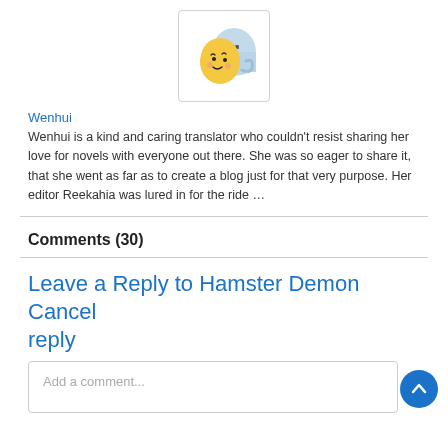[Figure (illustration): Avatar image of a cartoon character: a yellow blob-like creature with a ghost/spirit hugging it, both with expressive faces. Displayed in a white box with a light border.]
Wenhui
Wenhui is a kind and caring translator who couldn't resist sharing her love for novels with everyone out there. She was so eager to share it, that she went as far as to create a blog just for that very purpose. Her editor Reekahia was lured in for the ride …
Comments (30)
Leave a Reply to Hamster Demon Cancel reply
Add a comment...